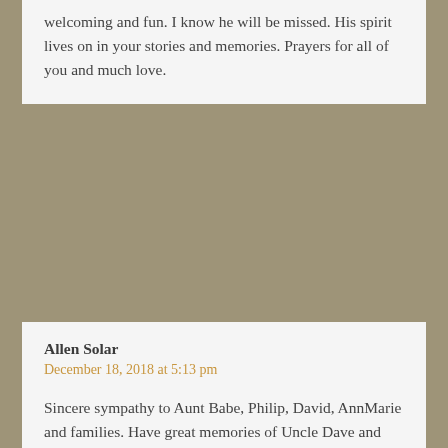welcoming and fun. I know he will be missed. His spirit lives on in your stories and memories. Prayers for all of you and much love.
Allen Solar
December 18, 2018 at 5:13 pm
Sincere sympathy to Aunt Babe, Philip, David, AnnMarie and families. Have great memories of Uncle Dave and Aunt Babe's trips back home, staying with Ann and Bob. Those picnics with lamb, kibbie, Syrian bread and Family were priceless. Uncle Dave, the first of the Solar/Neil westward movement, was a great example for all his nieces and nephews. Uncle